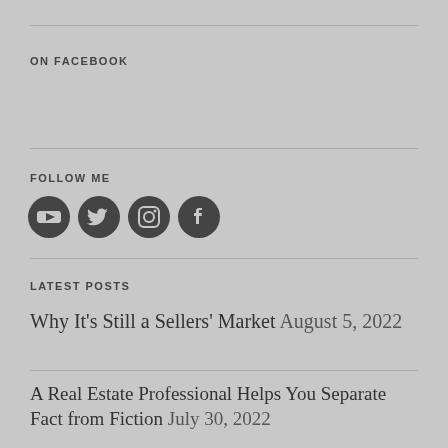ON FACEBOOK
FOLLOW ME
[Figure (illustration): Social media icons: YouTube, Twitter, Instagram, Facebook]
LATEST POSTS
Why It's Still a Sellers' Market August 5, 2022
A Real Estate Professional Helps You Separate Fact from Fiction July 30, 2022